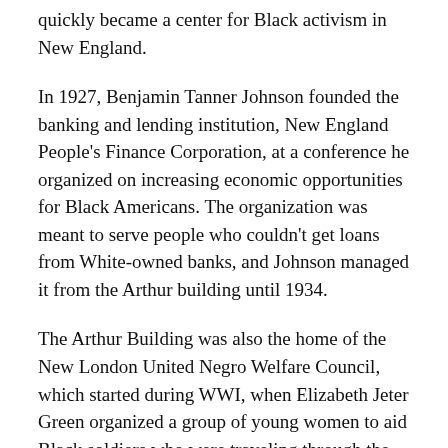quickly became a center for Black activism in New England.
In 1927, Benjamin Tanner Johnson founded the banking and lending institution, New England People’s Finance Corporation, at a conference he organized on increasing economic opportunities for Black Americans. The organization was meant to serve people who couldn’t get loans from White-owned banks, and Johnson managed it from the Arthur building until 1934.
The Arthur Building was also the home of the New London United Negro Welfare Council, which started during WWI, when Elizabeth Jeter Green organized a group of young women to aid Black soldiers who were traveling through the city on their way to fight in Europe. After the war, “The Canteen,” as the group called itself, helped local residents with rent, food, utility bills and clothing.